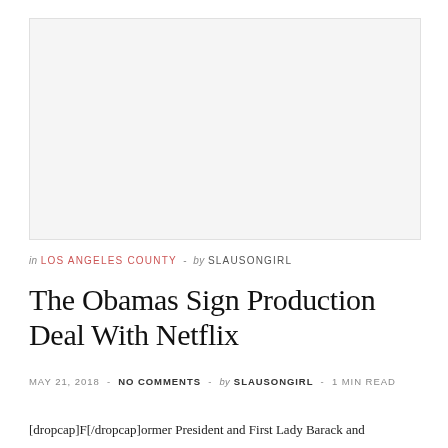[Figure (other): Advertisement placeholder box, light gray background]
in LOS ANGELES COUNTY - by SLAUSONGIRL
The Obamas Sign Production Deal With Netflix
MAY 21, 2018 - NO COMMENTS - by SLAUSONGIRL - 1 MIN READ
[dropcap]F[/dropcap]ormer President and First Lady Barack and